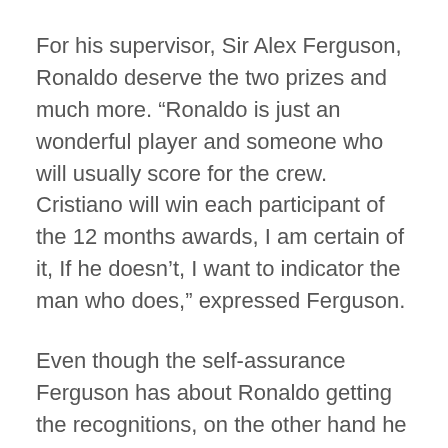For his supervisor, Sir Alex Ferguson, Ronaldo deserve the two prizes and much more. “Ronaldo is just an wonderful player and someone who will usually score for the crew. Cristiano will win each participant of the 12 months awards, I am certain of it, If he doesn’t, I want to indicator the man who does,” expressed Ferguson.
Even though the self-assurance Ferguson has about Ronaldo getting the recognitions, on the other hand he has explained that he is truly satisfied with Ronaldo’s recovering and enjoying time since he has previously scored 4 periods for the crew, even so, he is considering of leaving him out his line-up versus Celtic on the following sport, because of to the truth that he nevertheless not recovered totally of his ankle surgical procedure and his physical form can be